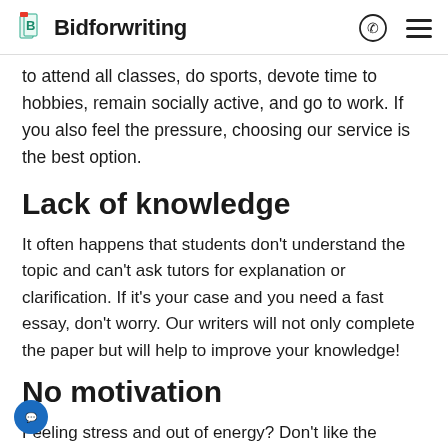Bidforwriting
to attend all classes, do sports, devote time to hobbies, remain socially active, and go to work. If you also feel the pressure, choosing our service is the best option.
Lack of knowledge
It often happens that students don’t understand the topic and can’t ask tutors for explanation or clarification. If it’s your case and you need a fast essay, don’t worry. Our writers will not only complete the paper but will help to improve your knowledge!
No motivation
Feeling stress and out of energy? Don’t like the subject? When getting help with essay is a great option. Just hire